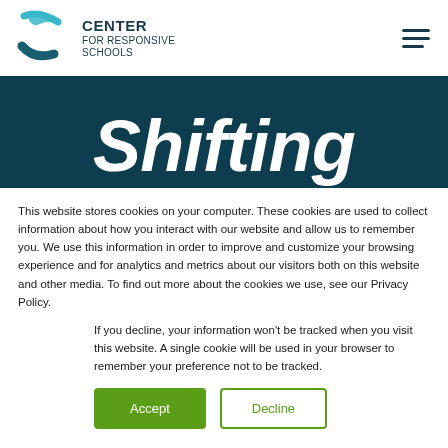Center for Responsive Schools
[Figure (illustration): Center for Responsive Schools logo with teal curved icon and bold text]
Shifting
This website stores cookies on your computer. These cookies are used to collect information about how you interact with our website and allow us to remember you. We use this information in order to improve and customize your browsing experience and for analytics and metrics about our visitors both on this website and other media. To find out more about the cookies we use, see our Privacy Policy.
If you decline, your information won't be tracked when you visit this website. A single cookie will be used in your browser to remember your preference not to be tracked.